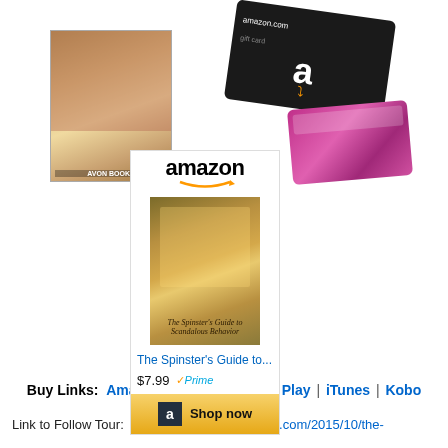[Figure (photo): Giveaway image showing a book cover (Avon Books romance novel with woman in red dress), an Amazon.com gift card (black), and a pink/purple gift card]
[Figure (screenshot): Amazon product widget showing the book 'The Spinster's Guide to...' priced at $7.99 with Prime badge and a 'Shop now' button]
Buy Links:  Amazon | B & N | Google Play | iTunes | Kobo
Link to Follow Tour:  http://www.tastybooktours.com/2015/10/the-